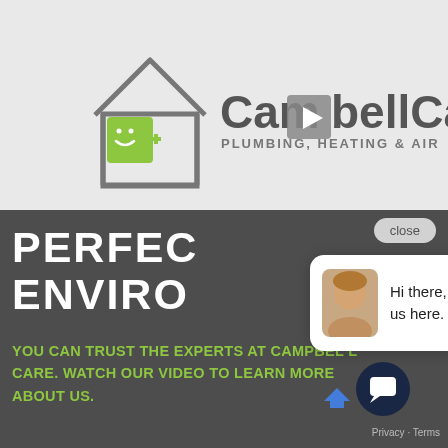[Figure (screenshot): CampbellCare Plumbing, Heating & Air logo with house icon, green smiling face, and play button overlay in center — on a light gray video thumbnail background]
[Figure (screenshot): Chat popup widget with female avatar and text 'Hi there, have a question? Text us here.' with a close button above]
PERFECT ENVIRO
YOU CAN TRUST THE EXPERTS AT CAMPBELL CARE. WATCH OUR VIDEO TO LEARN MORE ABOUT US.
[Figure (screenshot): Dark navy chat icon (speech bubble) in bottom right corner with reCAPTCHA branding and Privacy · Terms link]